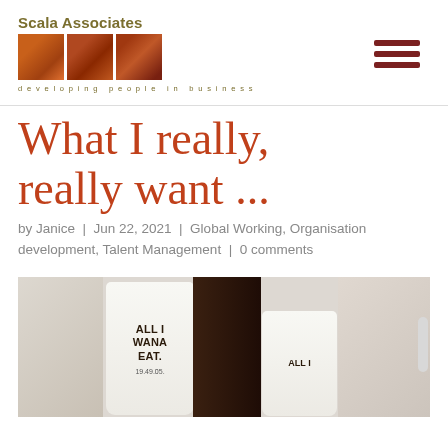[Figure (logo): Scala Associates logo with three orange/brown square images and tagline 'developing people in business']
What I really, really want ...
by Janice | Jun 22, 2021 | Global Working, Organisation development, Talent Management | 0 comments
[Figure (photo): Photo of white cups/containers with text 'ALL I WANA EAT.' printed on them, held by a hand on a light background]